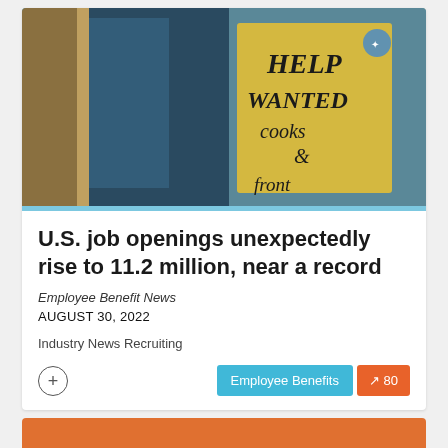[Figure (photo): A restaurant window with a yellow 'Help Wanted Cooks & front' sign visible. Background shows door frames and a blue sky.]
U.S. job openings unexpectedly rise to 11.2 million, near a record
Employee Benefit News
AUGUST 30, 2022
Industry News Recruiting
[Figure (other): Partial view of a second article card with orange background at the bottom of the page.]